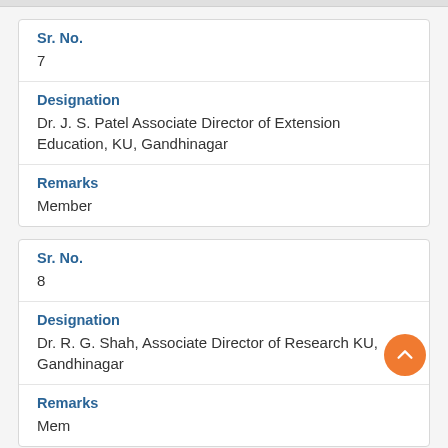| Sr. No. | Designation | Remarks |
| --- | --- | --- |
| 7 | Dr. J. S. Patel Associate Director of Extension Education, KU, Gandhinagar | Member |
| Sr. No. | Designation | Remarks |
| --- | --- | --- |
| 8 | Dr. R. G. Shah, Associate Director of Research KU, Gandhinagar | Member |